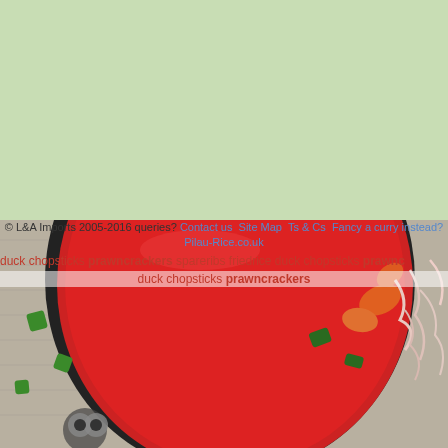[Figure (photo): Light green background occupying the upper portion of the page, and below it a food photo showing a bowl of red soup/curry with vegetables (green pepper pieces, carrots, onion/noodle mixture) on a wooden surface.]
© L&A Imports 2005-2016 queries? Contact us  Site Map  Ts & Cs  Fancy a curry instead? Pilau-Rice.co.uk
duck chopsticks prawncrackers spareribs friedrice duck chopsticks prawncrackers duck chopsticks prawncrackers